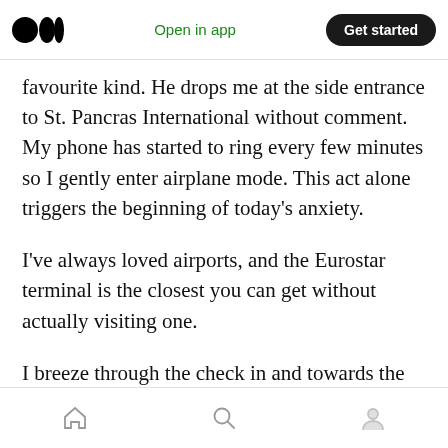Medium app navigation bar with logo, 'Open in app', and 'Get started' button
favourite kind. He drops me at the side entrance to St. Pancras International without comment. My phone has started to ring every few minutes so I gently enter airplane mode. This act alone triggers the beginning of today’s anxiety.
I’ve always loved airports, and the Eurostar terminal is the closest you can get without actually visiting one.
I breeze through the check in and towards the security. Carrying just a backpack means I’m through and into the Eurostar lounge in seconds
Bottom navigation: Home, Search, Profile